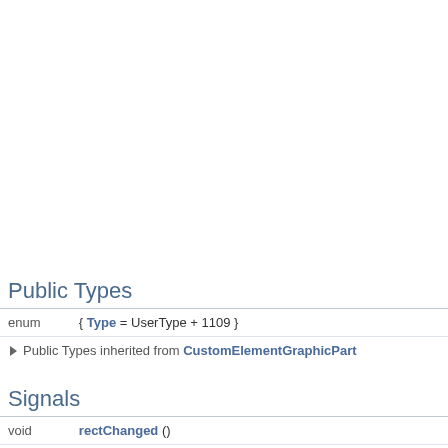Public Types
| enum | { Type = UserType + 1109 } |
▶ Public Types inherited from CustomElementGraphicPart
Signals
| void | rectChanged () |
| void | XRadiusChanged () |